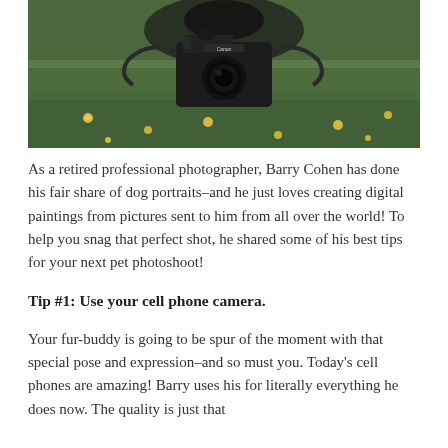[Figure (photo): A Canon DSLR camera sitting on grass with yellow flowers/dandelions, viewed from the front, with a dark blurred background]
As a retired professional photographer, Barry Cohen has done his fair share of dog portraits–and he just loves creating digital paintings from pictures sent to him from all over the world! To help you snag that perfect shot, he shared some of his best tips for your next pet photoshoot!
Tip #1: Use your cell phone camera.
Your fur-buddy is going to be spur of the moment with that special pose and expression–and so must you. Today's cell phones are amazing! Barry uses his for literally everything he does now. The quality is just that